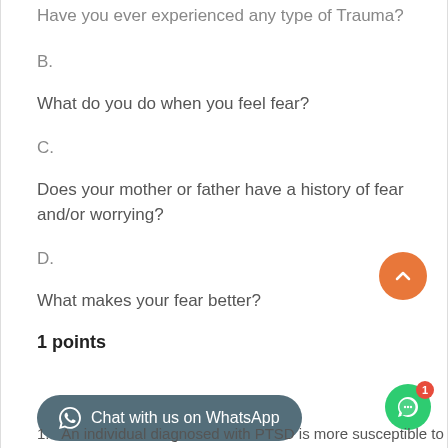Have you ever experienced any type of Trauma?
B.
What do you do when you feel fear?
C.
Does your mother or father have a history of fear and/or worrying?
D.
What makes your fear better?
1 points
Chat with us on WhatsApp
1. An individual diagnosed with PTSD is more susceptible to